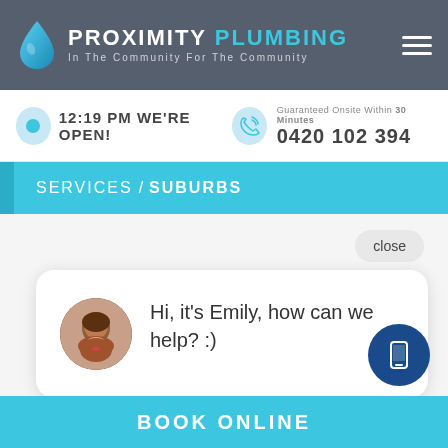PROXIMITY PLUMBING — In The Community For The Community
12:19 PM WE'RE OPEN!
Guaranteed Onsite Within 30 Minutes
0420 102 394
SERVICES / SUBURBS
close
Hi, it's Emily, how can we help? :)
BOOK ONLINE